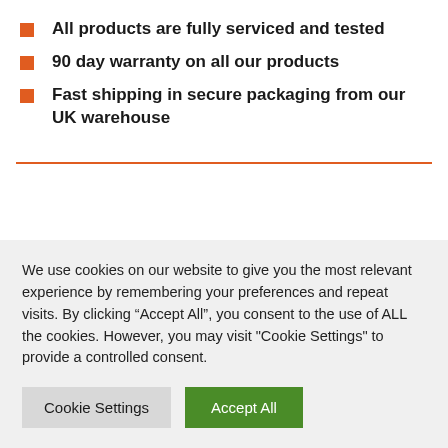All products are fully serviced and tested
90 day warranty on all our products
Fast shipping in secure packaging from our UK warehouse
We use cookies on our website to give you the most relevant experience by remembering your preferences and repeat visits. By clicking “Accept All”, you consent to the use of ALL the cookies. However, you may visit "Cookie Settings" to provide a controlled consent.